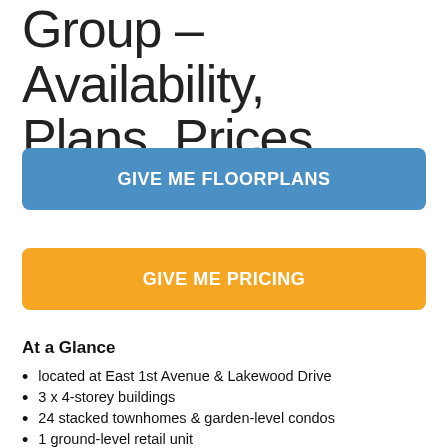Group – Availability, Plans, Prices
GIVE ME FLOORPLANS
GIVE ME PRICING
At a Glance
located at East 1st Avenue & Lakewood Drive
3 x 4-storey buildings
24 stacked townhomes & garden-level condos
1 ground-level retail unit
Passive House construction
2 blocks from dog-friendly Garden Park
walking distance to Lord Nelson Elementary &